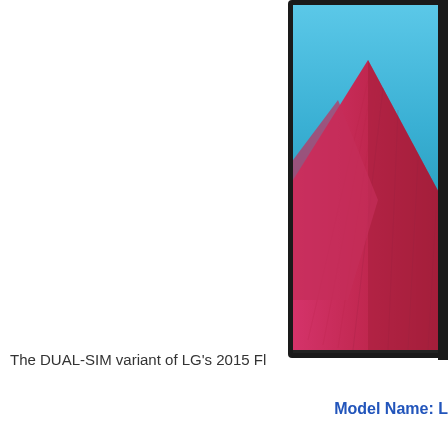[Figure (photo): Partial view of an LG smartphone (2015 Flagship model, DUAL-SIM variant) showing the right portion of the device with its screen displaying a pink/magenta geometric mountain shape on a blue/cyan gradient background. The phone has a black bezel frame visible.]
The DUAL-SIM variant of LG's 2015 Fl
Model Name: L